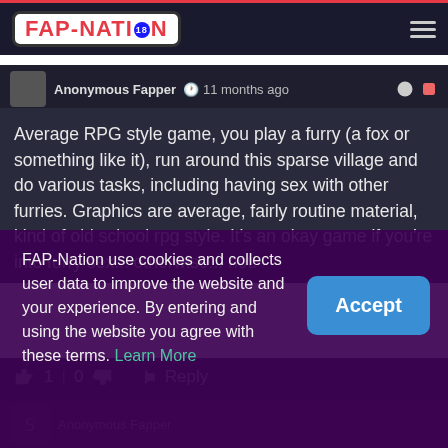[Figure (logo): FAP-NATION website logo in red text with 18+ badge, white background, rounded border]
Anonymous Fapper · 11 months ago
Average RPG style game, you play a furry (a fox or something like it), run around this sparse village and do various tasks, including having sex with other furries. Graphics are average, fairly routine material, kind of old school rpg style. It’s an okay game if you’re into furry sex... otherwise... not.
1 | 0   Reply
FAP-Nation use cookies and collects user data to improve the website and your experience. By entering and using the website you agree with these terms. Learn More